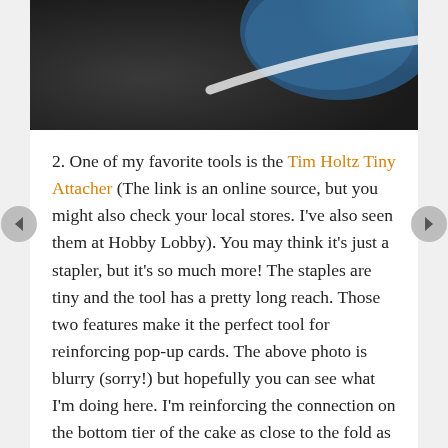[Figure (photo): A close-up blurry photo showing a dark textured surface and a blue rounded edge with a white line, likely a pop-up card being worked on with a Tim Holtz Tiny Attacher tool.]
2. One of my favorite tools is the Tim Holtz Tiny Attacher (The link is an online source, but you might also check your local stores. I've also seen them at Hobby Lobby). You may think it's just a stapler, but it's so much more! The staples are tiny and the tool has a pretty long reach. Those two features make it the perfect tool for reinforcing pop-up cards. The above photo is blurry (sorry!) but hopefully you can see what I'm doing here. I'm reinforcing the connection on the bottom tier of the cake as close to the fold as I can get it. This is going to replace the step in the "Supplemental Cake Die Instructions" that tells you to use a mini-brad. The tiny staple is going to lay much flatter than a mini-brad, and this